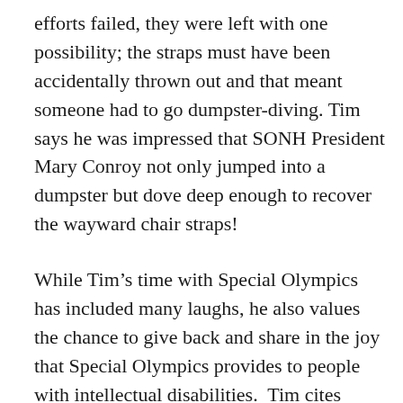efforts failed, they were left with one possibility; the straps must have been accidentally thrown out and that meant someone had to go dumpster-diving. Tim says he was impressed that SONH President Mary Conroy not only jumped into a dumpster but dove deep enough to recover the wayward chair straps!
While Tim's time with Special Olympics has included many laughs, he also values the chance to give back and share in the joy that Special Olympics provides to people with intellectual disabilities. Tim cites being part of the police-escorted motorcade through the streets of Boston bringing Special Olympics New Hampshire athletes and their equipment to Logan Airport for the 2019